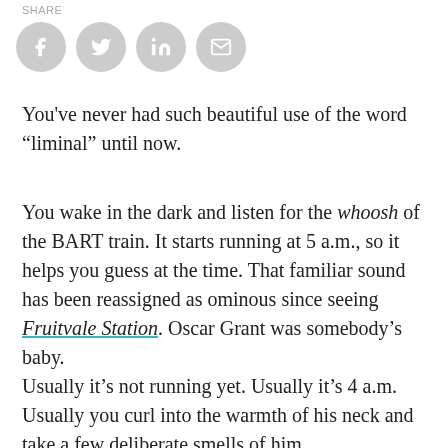[Figure (other): Social media share icons: Facebook (f), Twitter (bird), LinkedIn (in), Email (envelope) — four grey circles in a row]
You've never had such beautiful use of the word “liminal” until now.
You wake in the dark and listen for the whoosh of the BART train. It starts running at 5 a.m., so it helps you guess at the time. That familiar sound has been reassigned as ominous since seeing Fruitvale Station. Oscar Grant was somebody’s baby.
Usually it’s not running yet. Usually it’s 4 a.m. Usually you curl into the warmth of his neck and take a few deliberate smells of him